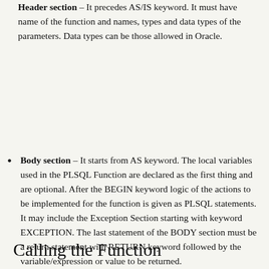Header section – It precedes AS/IS keyword. It must have name of the function and names, types and data types of the parameters. Data types can be those allowed in Oracle.
Body section – It starts from AS keyword. The local variables used in the PLSQL Function are declared as the first thing and are optional. After the BEGIN keyword logic of the actions to be implemented for the function is given as PLSQL statements. It may include the Exception Section starting with keyword EXCEPTION. The last statement of the BODY section must be a return statement with RETURN keyword followed by the variable/expression or value to be returned.
Calling the Function